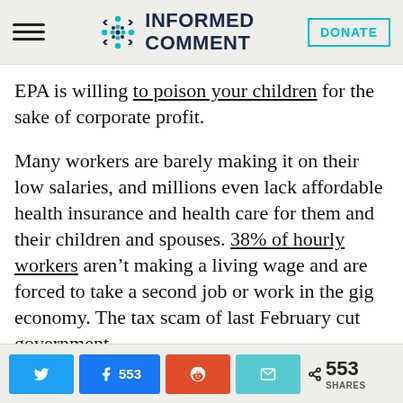INFORMED COMMENT
EPA is willing to poison your children for the sake of corporate profit.
Many workers are barely making it on their low salaries, and millions even lack affordable health insurance and health care for them and their children and spouses. 38% of hourly workers aren’t making a living wage and are forced to take a second job or work in the gig economy. The tax scam of last February cut government
Twitter | Facebook 553 | Reddit | Email | < 553 SHARES